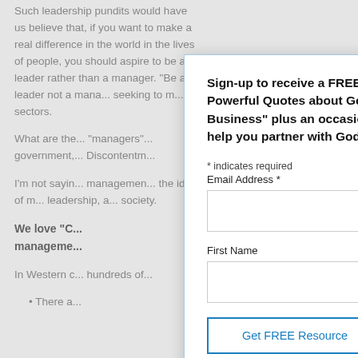Such leadership pundits would have us believe that, if you want to make a real difference in the world in the lives of people, you should aspire to be a leader rather than a manager. "Be a leader not a mana... seeking to m... sectors.
What are the... "managers"... government,... Discontentm...
I'm not sayin... managemen... the idea of m... leadership, a... society.
We love "C... manageme...
In Western c... hundreds of...
There a...
Sign-up to receive a FREE copy of "25 Powerful Quotes about God in Business" plus an occasional article to help you partner with God in business.
* indicates required
Email Address *
First Name
Get FREE Resource